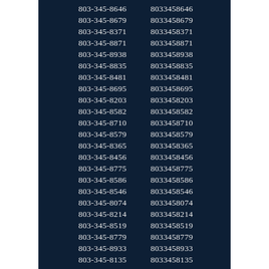| Formatted | Unformatted |
| --- | --- |
| 803-345-8029 | 8033458029 |
| 803-345-8646 | 8033458646 |
| 803-345-8679 | 8033458679 |
| 803-345-8371 | 8033458371 |
| 803-345-8871 | 8033458871 |
| 803-345-8938 | 8033458938 |
| 803-345-8835 | 8033458835 |
| 803-345-8481 | 8033458481 |
| 803-345-8695 | 8033458695 |
| 803-345-8203 | 8033458203 |
| 803-345-8582 | 8033458582 |
| 803-345-8710 | 8033458710 |
| 803-345-8579 | 8033458579 |
| 803-345-8365 | 8033458365 |
| 803-345-8456 | 8033458456 |
| 803-345-8775 | 8033458775 |
| 803-345-8586 | 8033458586 |
| 803-345-8546 | 8033458546 |
| 803-345-8074 | 8033458074 |
| 803-345-8214 | 8033458214 |
| 803-345-8519 | 8033458519 |
| 803-345-8779 | 8033458779 |
| 803-345-8933 | 8033458933 |
| 803-345-8135 | 8033458135 |
| 803-345-8186 | 8033458186 |